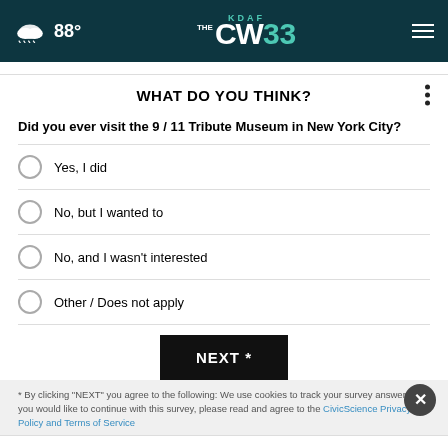88° KDAF THE CW 33
WHAT DO YOU THINK?
Did you ever visit the 9 / 11 Tribute Museum in New York City?
Yes, I did
No, but I wanted to
No, and I wasn't interested
Other / Does not apply
NEXT *
* By clicking "NEXT" you agree to the following: We use cookies to track your survey answers. If you would like to continue with this survey, please read and agree to the CivicScience Privacy Policy and Terms of Service